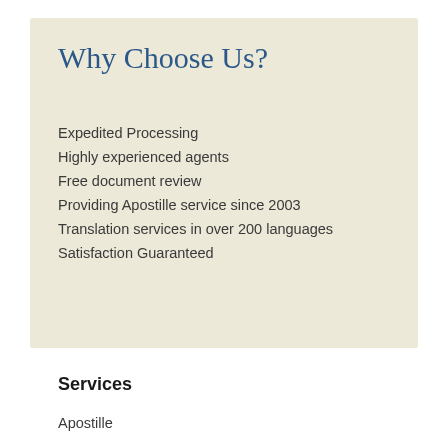Why Choose Us?
Expedited Processing
Highly experienced agents
Free document review
Providing Apostille service since 2003
Translation services in over 200 languages
Satisfaction Guaranteed
Get a Quote
Services
Apostille